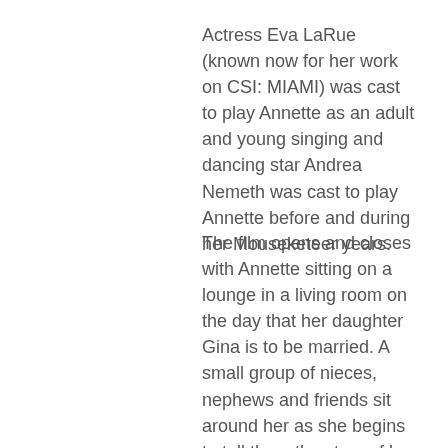Actress Eva LaRue (known now for her work on CSI: MIAMI) was cast to play Annette as an adult and young singing and dancing star Andrea Nemeth was cast to play Annette before and during her Mouseketeer years.
The film opens and closes with Annette sitting on a lounge in a living room on the day that her daughter Gina is to be married. A small group of nieces, nephews and friends sit around her as she begins to tell them the story of her life. From that point she narrates portions of the film, so we can jump forward in time, and, occasionally we return to her in the salon. The film ends with Gina's wedding ceremony. Eva